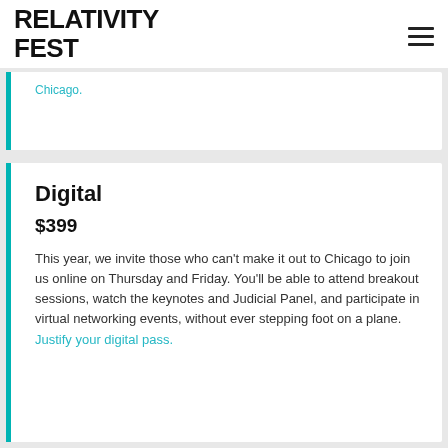RELATIVITY FEST
Chicago.
Digital
$399
This year, we invite those who can't make it out to Chicago to join us online on Thursday and Friday. You'll be able to attend breakout sessions, watch the keynotes and Judicial Panel, and participate in virtual networking events, without ever stepping foot on a plane. Justify your digital pass.